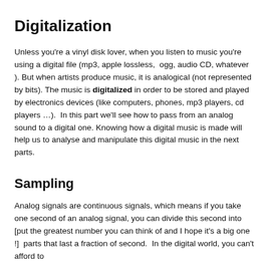Digitalization
Unless you're a vinyl disk lover, when you listen to music you're using a digital file (mp3, apple lossless,  ogg, audio CD, whatever ). But when artists produce music, it is analogical (not represented by bits). The music is digitalized in order to be stored and played by electronics devices (like computers, phones, mp3 players, cd players …).  In this part we'll see how to pass from an analog sound to a digital one. Knowing how a digital music is made will help us to analyse and manipulate this digital music in the next parts.
Sampling
Analog signals are continuous signals, which means if you take one second of an analog signal, you can divide this second into [put the greatest number you can think of and I hope it's a big one !]  parts that last a fraction of second.  In the digital world, you can't afford to